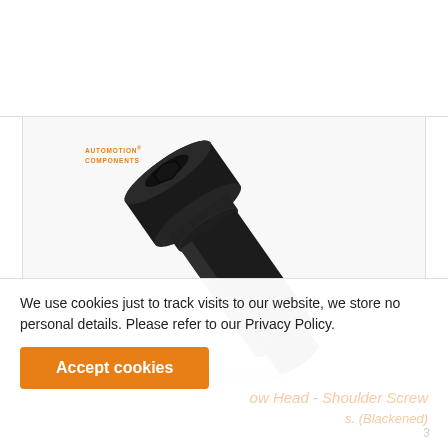P0132.B2 - Shoulder Screw - Cap Head
slot drive - 303 stainless, blackened
72
[Figure (photo): Close-up photo of a black shoulder screw with cap head, showing the socket drive recess on top and threaded end at bottom, with Automotion Components branding watermark]
We use cookies just to track visits to our website, we store no personal details. Please refer to our Privacy Policy.
Accept cookies